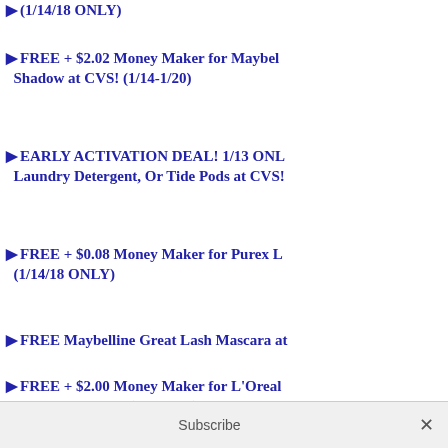(1/14/18 ONLY)
FREE + $2.02 Money Maker for Maybelline Eye Shadow at CVS! (1/14-1/20)
EARLY ACTIVATION DEAL! 1/13 ONLY Laundry Detergent, Or Tide Pods at CVS!
FREE + $0.08 Money Maker for Purex L... (1/14/18 ONLY)
FREE Maybelline Great Lash Mascara at...
FREE + $2.00 Money Maker for L'Oreal Products at CVS! (1/14-1/20)
Subscribe